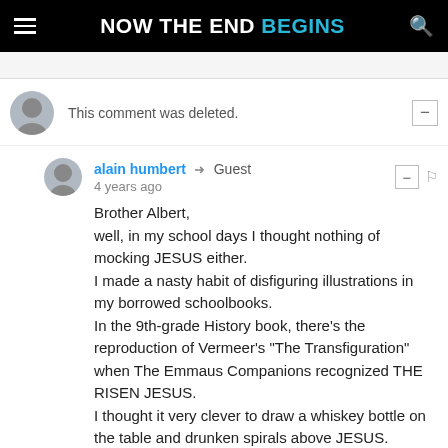NOW THE END BEGINS
This comment was deleted.
alain humbert → Guest
4 years ago
Brother Albert,
well, in my school days I thought nothing of mocking JESUS either.
I made a nasty habit of disfiguring illustrations in my borrowed schoolbooks.
In the 9th-grade History book, there's the reproduction of Vermeer's "The Transfiguration" when The Emmaus Companions recognized THE RISEN JESUS.
I thought it very clever to draw a whiskey bottle on the table and drunken spirals above JESUS.
And yet here I am, saved BY THE BLOOD OF THE ONE i mocked.
Astonishingly, the sharpest rebuke I got was from a Buddhist friend and school mate !